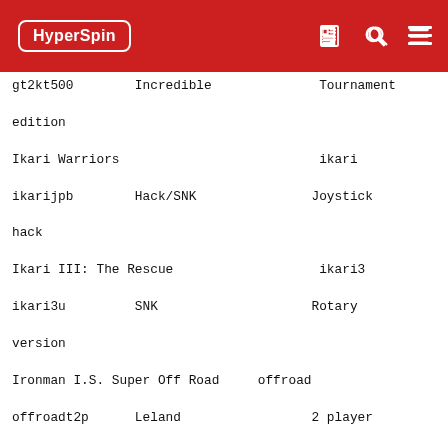HyperSpin
gt2kt500        Incredible              Tournament edition
Ikari Warriors                          ikari
ikarijpb        Hack/SNK               Joystick hack
Ikari III: The Rescue                   ikari3
ikari3u         SNK                    Rotary version
Ironman I.S. Super Off Road    offroad
offroadt2p      Leland                 2 player version
Rambo 3                                ikari
ikariram        Bootleg/SNK       Rambo version of Ikari Wariors with joystick hack
Joust                                  joust
joustr          Williams
Pterodactyl scoring bug
Karate Champ Vs. Version       kchamp
Kchampvs2       Data East              2 Player